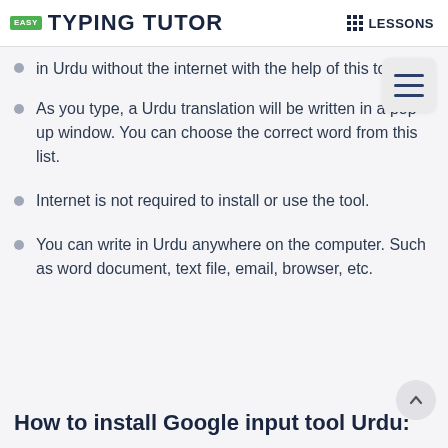EASY TYPING TUTOR | LESSONS
in Urdu without the internet with the help of this tool.
As you type, a Urdu translation will be written in a pop-up window. You can choose the correct word from this list.
Internet is not required to install or use the tool.
You can write in Urdu anywhere on the computer. Such as word document, text file, email, browser, etc.
How to install Google input tool Urdu: